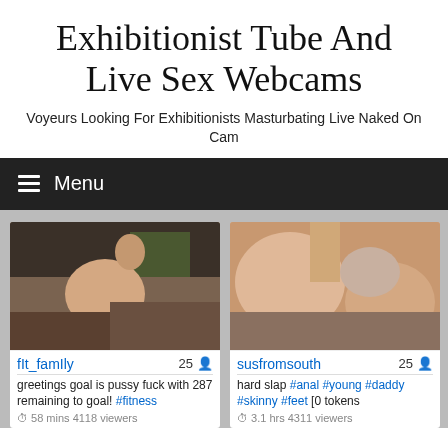Exhibitionist Tube And Live Sex Webcams
Voyeurs Looking For Exhibitionists Masturbating Live Naked On Cam
Menu
[Figure (photo): Webcam thumbnail showing a person in a flexible pose indoors]
fIt_famIly  25
greetings goal is pussy fuck with 287 remaining to goal! #fitness
58 mins 4118 viewers
[Figure (photo): Webcam thumbnail showing two people]
susfromsouth  25
hard slap #anal #young #daddy #skinny #feet [0 tokens
3.1 hrs 4311 viewers